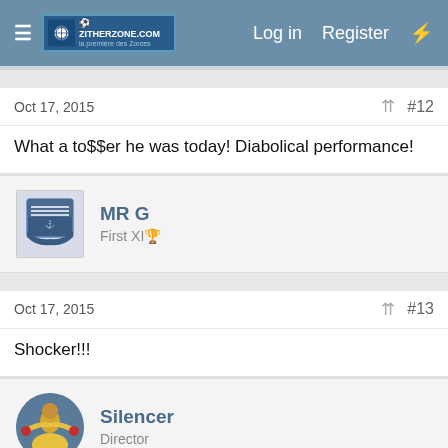Log in  Register
Oct 17, 2015  #12
What a to$$er he was today! Diabolical performance!
MR G
First XI🏆
Oct 17, 2015  #13
Shocker!!!
Silencer
Director
Oct 17, 2015  #14
Totally inept and seemingly out of his depth. It is so nice to be able to win when moaning about the officials so it proves that it's not a case of sour grapes. For a twenty minute spell in the first half the referee lost it, I would have bet my mortgage on at least one red being shown.